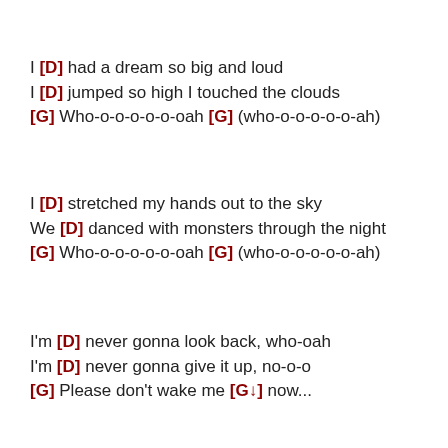I [D] had a dream so big and loud
I [D] jumped so high I touched the clouds
[G] Who-o-o-o-o-o-oah [G] (who-o-o-o-o-o-ah)
I [D] stretched my hands out to the sky
We [D] danced with monsters through the night
[G] Who-o-o-o-o-o-oah [G] (who-o-o-o-o-o-ah)
I'm [D] never gonna look back, who-oah
I'm [D] never gonna give it up, no-o-o
[G] Please don't wake me [G↓] now...